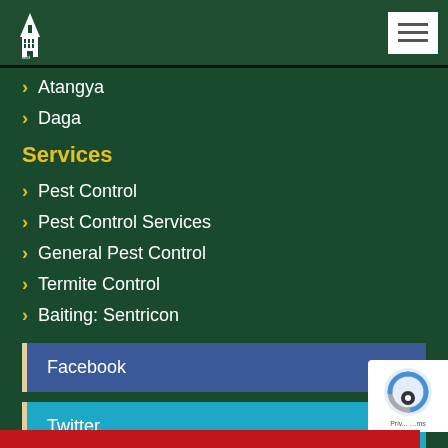Logo and navigation menu button
Atangya
Daga
Services
Pest Control
Pest Control Services
General Pest Control
Termite Control
Baiting: Sentricon
Facebook
Twitter